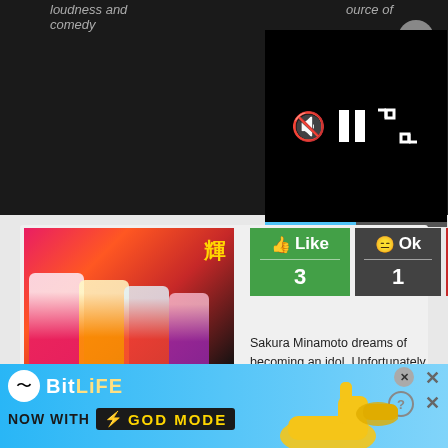loudness and comedy
source of
[Figure (screenshot): Video player with controls: mute button, pause button, expand button on black background with progress bar]
[Figure (illustration): Anime show thumbnail with colorful female characters in costumes, orange rating box showing Rating: 75.40/100]
[Figure (screenshot): Like (3), Ok (1), Dislike (2) interaction buttons]
Sakura Minamoto dreams of becoming an idol. Unfortunately, reality hits her like a truck, and she dies in a sudden traffic accident. Ten years later, she wakes up in Saga Prefecture, only to find herself a zombie with no memory of her past. While sti...
Read more
[Figure (screenshot): BitLife advertisement banner - NOW WITH GOD MODE with lightning bolt graphic and pointing hand illustrations]